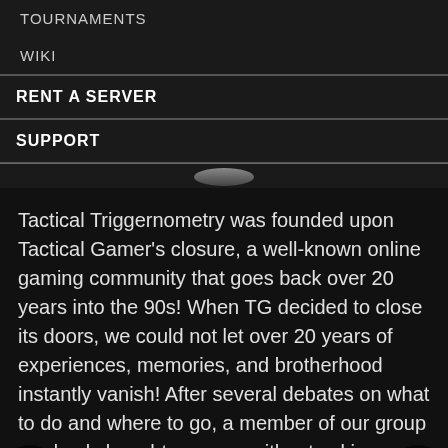TOURNAMENTS
WIKI
RENT A SERVER
SUPPORT
Tactical Triggernometry was founded upon Tactical Gamer's closure, a well-known online gaming community that goes back over 20 years into the 90s! When TG decided to close its doors, we could not let over 20 years of experiences, memories, and brotherhood instantly vanish! After several debates on what to do and where to go, a member of our group randomly bought a server without asking any of us and asked: “now, what do we do?”. Just like that, TacTrig